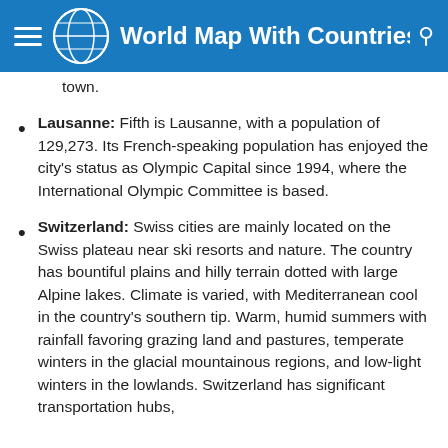World Map With Countries
town.
Lausanne: Fifth is Lausanne, with a population of 129,273. Its French-speaking population has enjoyed the city’s status as Olympic Capital since 1994, where the International Olympic Committee is based.
Switzerland: Swiss cities are mainly located on the Swiss plateau near ski resorts and nature. The country has bountiful plains and hilly terrain dotted with large Alpine lakes. Climate is varied, with Mediterranean cool in the country’s southern tip. Warm, humid summers with rainfall favoring grazing land and pastures, temperate winters in the glacial mountainous regions, and low-light winters in the lowlands. Switzerland has significant transportation hubs, but Zurich International Airport is one of the